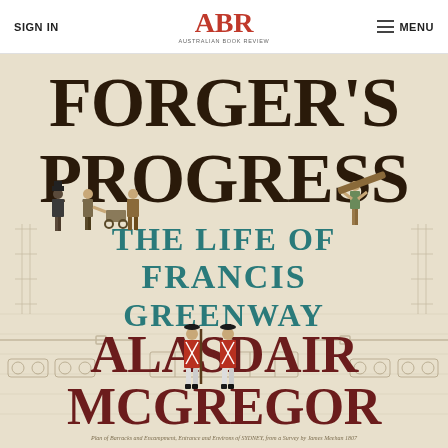SIGN IN | ABR Australian Book Review | MENU
[Figure (illustration): Book cover of 'Forger's Progress: The Life of Francis Greenway' by Alasdair McGregor. The cover features large dark serif text for 'FORGER'S PROGRESS' and 'ALASDAIR MCGREGOR', teal/teal serif text for 'THE LIFE OF FRANCIS GREENWAY', set against an aged architectural blueprint background with illustrations of colonial-era figures: workers carrying timber, soldiers in red coats standing at attention, and men with a cart.]